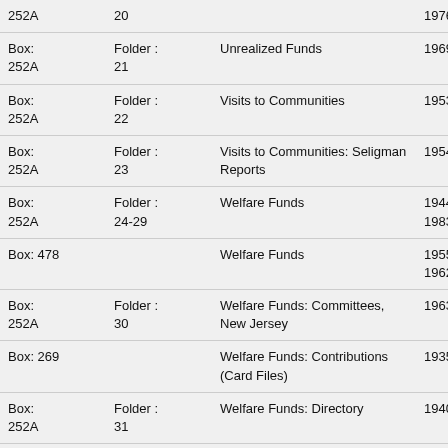| Box | Folder | Title | Date |
| --- | --- | --- | --- |
| Box: 252A | 20 |  | 1976 |
| Box: 252A | Folder : 21 | Unrealized Funds | 1969-1971 |
| Box: 252A | Folder : 22 | Visits to Communities | 1953-1954 |
| Box: 252A | Folder : 23 | Visits to Communities: Seligman Reports | 1954 |
| Box: 252A | Folder : 24-29 | Welfare Funds | 1944-1957, 1983 |
| Box: 478 |  | Welfare Funds | 1955, 1960-1962, 1999 |
| Box: 252A | Folder : 30 | Welfare Funds: Committees, New Jersey | 1963 |
| Box: 269 |  | Welfare Funds: Contributions (Card Files) | 1935-1972 |
| Box: 252A | Folder : 31 | Welfare Funds: Directory | 1940 |
| Box: 252A | Folder : 32 | Welfare Funds: JLC Staff Position | 1953 |